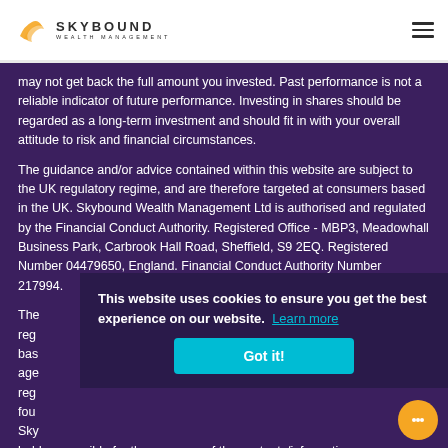Skybound Wealth Management
may not get back the full amount you invested. Past performance is not a reliable indicator of future performance. Investing in shares should be regarded as a long-term investment and should fit in with your overall attitude to risk and financial circumstances.
The guidance and/or advice contained within this website are subject to the UK regulatory regime, and are therefore targeted at consumers based in the UK. Skybound Wealth Management Ltd is authorised and regulated by the Financial Conduct Authority. Registered Office - MBP3, Meadowhall Business Park, Carbrook Hall Road, Sheffield, S9 2EQ. Registered Number 04479650, England. Financial Conduct Authority Number 217994.
The... reg... bas... age... reg... fou... Sky... held responsible for the accuracy of the contents/information
This website uses cookies to ensure you get the best experience on our website. Learn more
Got it!